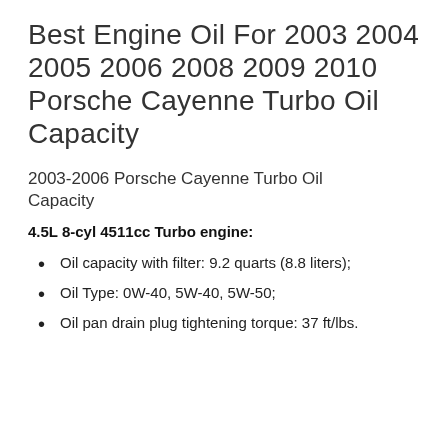Best Engine Oil For 2003 2004 2005 2006 2008 2009 2010 Porsche Cayenne Turbo Oil Capacity
2003-2006 Porsche Cayenne Turbo Oil Capacity
4.5L 8-cyl 4511cc Turbo engine:
Oil capacity with filter: 9.2 quarts (8.8 liters);
Oil Type: 0W-40, 5W-40, 5W-50;
Oil pan drain plug tightening torque: 37 ft/lbs.